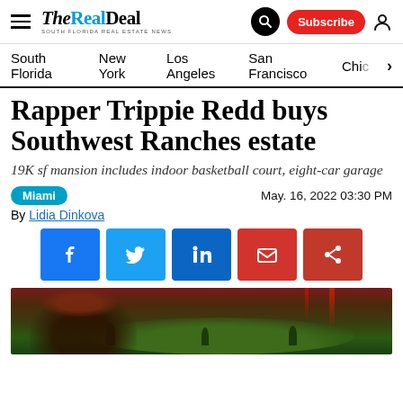THE REAL DEAL — South Florida Real Estate News | Search | Subscribe
South Florida  New York  Los Angeles  San Francisco  Chi…
Rapper Trippie Redd buys Southwest Ranches estate
19K sf mansion includes indoor basketball court, eight-car garage
Miami   May. 16, 2022 03:30 PM
By Lidia Dinkova
[Figure (screenshot): Social share buttons: Facebook, Twitter, LinkedIn, Email, Share]
[Figure (photo): Hero image showing a large estate/mansion aerial view with a person with distinctive hair in the foreground against a dramatic red-tinted sky background]